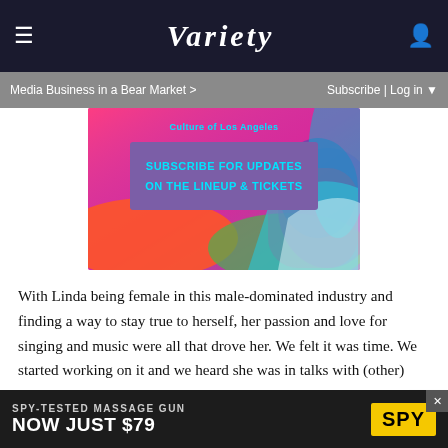Variety
Media Business in a Bear Market >      Subscribe | Log in ▼
[Figure (illustration): Colorful advertisement banner with pink, teal, and purple gradient background. Text reads: 'Culture of Los Angeles' at top, and a purple box with teal text 'SUBSCRIBE FOR UPDATES ON THE LINEUP & TICKETS']
With Linda being female in this male-dominated industry and finding a way to stay true to herself, her passion and love for singing and music were all that drove her. We felt it was time. We started working on it and we heard she was in talks with (other) directors and we had to step away because someone beat us to it. But the directors were missing the link of financing, which is always, for me, the toughest part of getting these films made. Linda's lawyer told them to speak to us and so we
[Figure (advertisement): Bottom advertisement banner on dark background: 'SPY-TESTED MASSAGE GUN' and 'NOW JUST $79' with SPY logo in yellow]